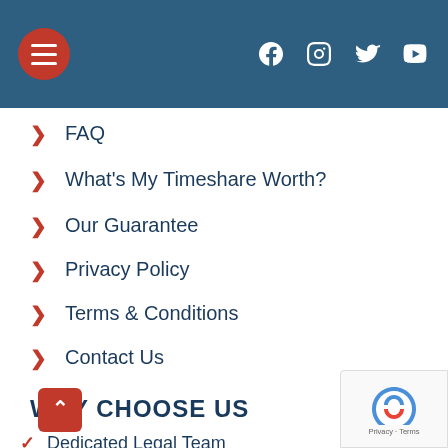Navigation header with hamburger menu and social icons (Facebook, Instagram, Twitter, YouTube)
FAQ
What's My Timeshare Worth?
Our Guarantee
Privacy Policy
Terms & Conditions
Contact Us
WHY CHOOSE US
Dedicated Legal Team
100% Money Back Guarantee
Guaranteed Results